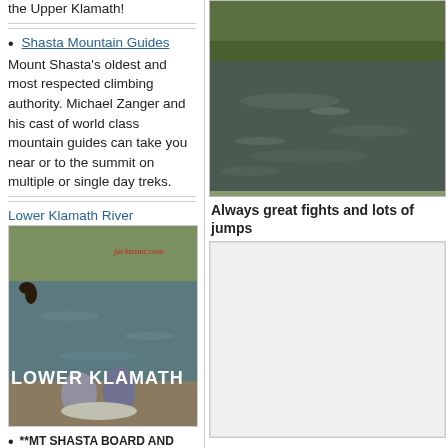the Upper Klamath!
Shasta Mountain Guides — Mount Shasta's oldest and most respected climbing authority. Michael Zanger and his cast of world class mountain guides can take you near or to the summit on multiple or single day treks.
Lower Klamath River
[Figure (photo): Photo of Lower Klamath River with a bear on the bank and two people holding a large fish, watermark jacktrout.com, text overlay LOWER KLAMATH]
**MT SHASTA BOARD AND SKI PARK, 530-926-8686
[Figure (photo): River/water scene with green vegetation on the bank, dark water surface]
Always great fights and lots of jumps
[Figure (photo): Light gray placeholder photo area below the bold text]